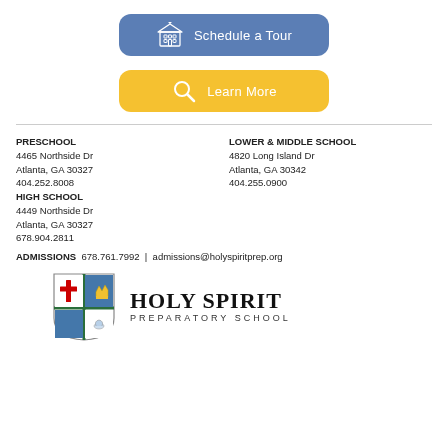[Figure (other): Blue rounded button with school building icon and text 'Schedule a Tour']
[Figure (other): Yellow rounded button with magnifying glass icon and text 'Learn More']
PRESCHOOL
4465 Northside Dr
Atlanta, GA 30327
404.252.8008
HIGH SCHOOL
4449 Northside Dr
Atlanta, GA 30327
678.904.2811
LOWER & MIDDLE SCHOOL
4820 Long Island Dr
Atlanta, GA 30342
404.255.0900
ADMISSIONS  678.761.7992  |  admissions@holyspiritprep.org
[Figure (logo): Holy Spirit Preparatory School shield logo and school name]